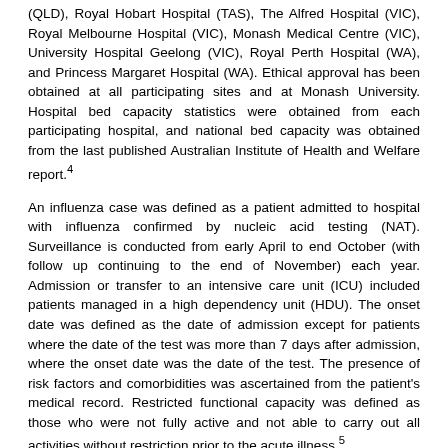(QLD), Royal Hobart Hospital (TAS), The Alfred Hospital (VIC), Royal Melbourne Hospital (VIC), Monash Medical Centre (VIC), University Hospital Geelong (VIC), Royal Perth Hospital (WA), and Princess Margaret Hospital (WA). Ethical approval has been obtained at all participating sites and at Monash University. Hospital bed capacity statistics were obtained from each participating hospital, and national bed capacity was obtained from the last published Australian Institute of Health and Welfare report.4
An influenza case was defined as a patient admitted to hospital with influenza confirmed by nucleic acid testing (NAT). Surveillance is conducted from early April to end October (with follow up continuing to the end of November) each year. Admission or transfer to an intensive care unit (ICU) included patients managed in a high dependency unit (HDU). The onset date was defined as the date of admission except for patients where the date of the test was more than 7 days after admission, where the onset date was the date of the test. The presence of risk factors and comorbidities was ascertained from the patient's medical record. Restricted functional capacity was defined as those who were not fully active and not able to carry out all activities without restriction prior to the acute illness.5
We examined factors associated with ICU admission using multivariable regression. Factors independently associated with ICU admission were determined using a logistic regression model with no variable selection